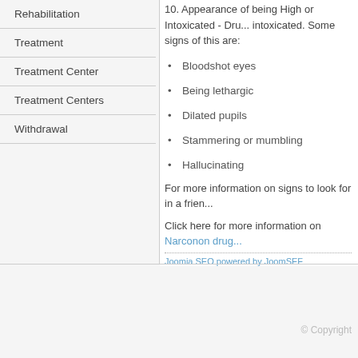Rehabilitation
Treatment
Treatment Center
Treatment Centers
Withdrawal
10. Appearance of being High or Intoxicated - Dru... intoxicated. Some signs of this are:
Bloodshot eyes
Being lethargic
Dilated pupils
Stammering or mumbling
Hallucinating
For more information on signs to look for in a frien...
Click here for more information on Narconon drug...
Joomla SEO powered by JoomSEF
© Copyright